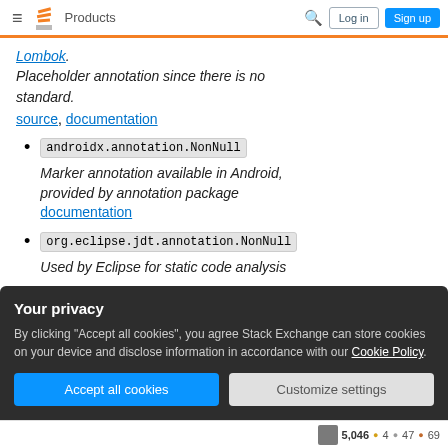Stack Overflow navigation — Products | Log in | Sign up
Lombok. Placeholder annotation since there is no standard.
source, documentation
androidx.annotation.NonNull — Marker annotation available in Android, provided by annotation package — documentation
org.eclipse.jdt.annotation.NonNull — Used by Eclipse for static code analysis
Your privacy — By clicking "Accept all cookies", you agree Stack Exchange can store cookies on your device and disclose information in accordance with our Cookie Policy. — Accept all cookies | Customize settings
5,046 ● 4 ● 47 ● 69